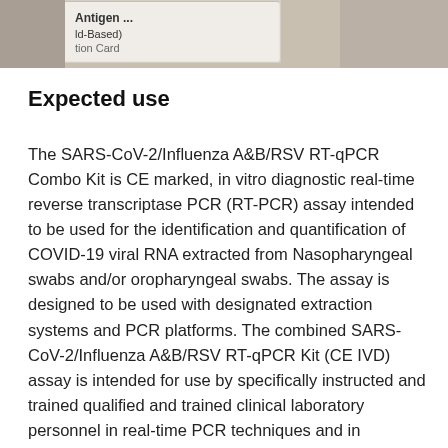[Figure (photo): Partial view of a rapid antigen test box/card with text 'Antigen...' and 'ld-Based)' and 'tion Card' visible]
Expected use
The SARS-CoV-2/Influenza A&B/RSV RT-qPCR Combo Kit is CE marked, in vitro diagnostic real-time reverse transcriptase PCR (RT-PCR) assay intended to be used for the identification and quantification of COVID-19 viral RNA extracted from Nasopharyngeal swabs and/or oropharyngeal swabs. The assay is designed to be used with designated extraction systems and PCR platforms. The combined SARS-CoV-2/Influenza A&B/RSV RT-qPCR Kit (CE IVD) assay is intended for use by specifically instructed and trained qualified and trained clinical laboratory personnel in real-time PCR techniques and in